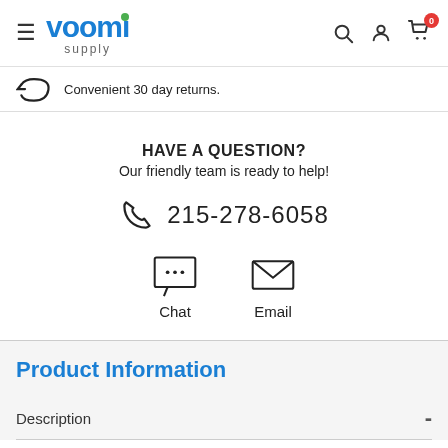[Figure (logo): Voomi Supply logo with blue text and green dot above the i, with hamburger menu on left and search, account, cart icons on right]
Convenient 30 day returns.
HAVE A QUESTION?
Our friendly team is ready to help!
215-278-6058
Chat    Email
Product Information
Description